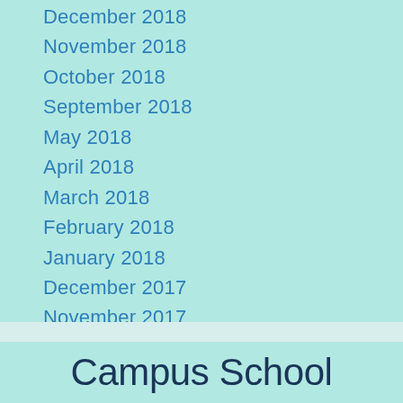December 2018
November 2018
October 2018
September 2018
May 2018
April 2018
March 2018
February 2018
January 2018
December 2017
November 2017
October 2017
September 2017
Campus School